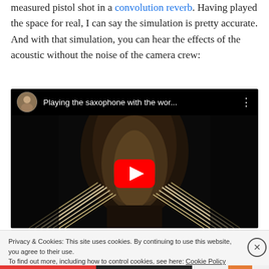measured pistol shot in a convolution reverb. Having played the space for real, I can say the simulation is pretty accurate. And with that simulation, you can hear the effects of the acoustic without the noise of the camera crew:
[Figure (screenshot): Embedded YouTube video thumbnail showing 'Playing the saxophone with the wor...' with a play button, dark cathedral interior with wooden pews visible]
Privacy & Cookies: This site uses cookies. By continuing to use this website, you agree to their use. To find out more, including how to control cookies, see here: Cookie Policy